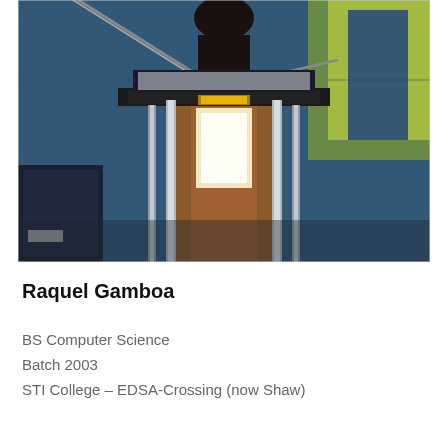[Figure (photo): A person standing behind a podium/lectern at what appears to be a formal event or ceremony. The podium has metallic poles and a wooden center panel with a bright light on it. A microphone boom is visible. The background shows a blue banner with yellow/green design elements.]
Raquel Gamboa
BS Computer Science
Batch 2003
STI College – EDSA-Crossing (now Shaw)